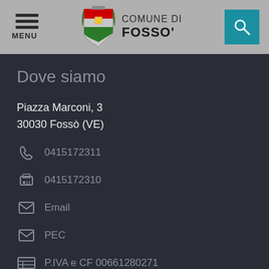MENU | COMUNE DI FOSSO'
Dove siamo
Piazza Marconi, 3
30030 Fossò (VE)
0415172311
0415172310
Email
PEC
P.IVA e CF 00661280271